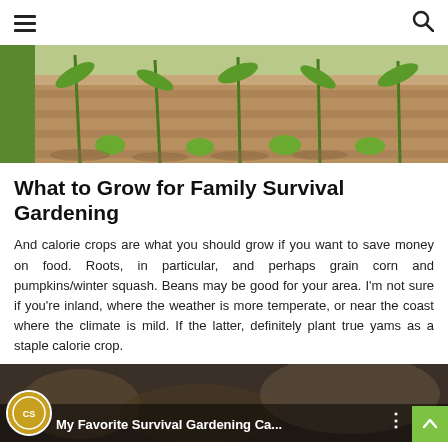≡  🔍
[Figure (photo): Garden rows with corn and other plants growing in sandy/dry soil, viewed from an angle showing multiple rows.]
What to Grow for Family Survival Gardening
And calorie crops are what you should grow if you want to save money on food. Roots, in particular, and perhaps grain corn and pumpkins/winter squash. Beans may be good for your area. I'm not sure if you're inland, where the weather is more temperate, or near the coast where the climate is mild. If the latter, definitely plant true yams as a staple calorie crop.
[Figure (screenshot): Video thumbnail showing a survival gardening video titled 'My Favorite Survival Gardening Ca...' with a circular logo on the left, three-dot menu icon, and a green scroll-to-top button in the bottom right corner.]